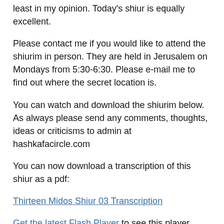least in my opinion. Today's shiur is equally excellent.
Please contact me if you would like to attend the shiurim in person. They are held in Jerusalem on Mondays from 5:30-6:30. Please e-mail me to find out where the secret location is.
You can watch and download the shiurim below. As always please send any comments, thoughts, ideas or criticisms to admin at hashkafacircle.com
You can now download a transcription of this shiur as a pdf:
Thirteen Midos Shiur 03 Transcription
Get the latest Flash Player to see this player.
Video of shiur 03